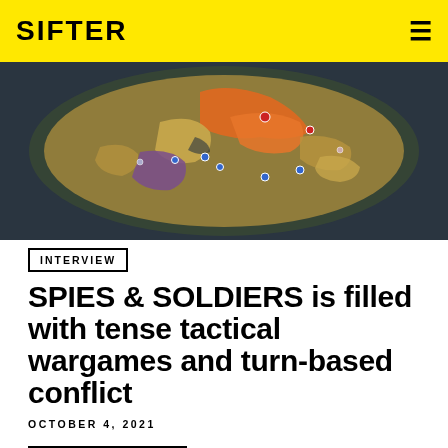SIFTER
[Figure (screenshot): Screenshot of a strategy game map showing colored territories on a dark ocean background, with orange, yellow, purple regions and small unit markers]
INTERVIEW
SPIES & SOLDIERS is filled with tense tactical wargames and turn-based conflict
OCTOBER 4, 2021
Read More